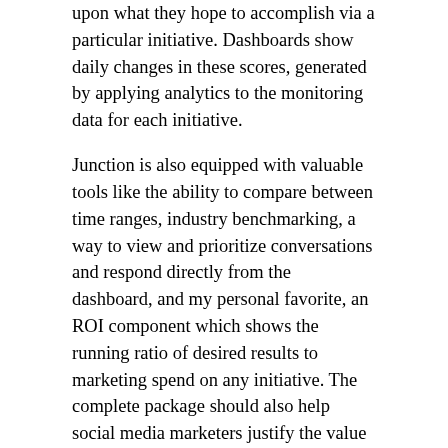upon what they hope to accomplish via a particular initiative. Dashboards show daily changes in these scores, generated by applying analytics to the monitoring data for each initiative.
Junction is also equipped with valuable tools like the ability to compare between time ranges, industry benchmarking, a way to view and prioritize conversations and respond directly from the dashboard, and my personal favorite, an ROI component which shows the running ratio of desired results to marketing spend on any initiative. The complete package should also help social media marketers justify the value of their efforts within the total marketing program.
Junction is currently available as a beta release—those who are interested can ask for a trial. A white-label solution for agencies is also available, Tejas tells me, with additional features and a good level of customization